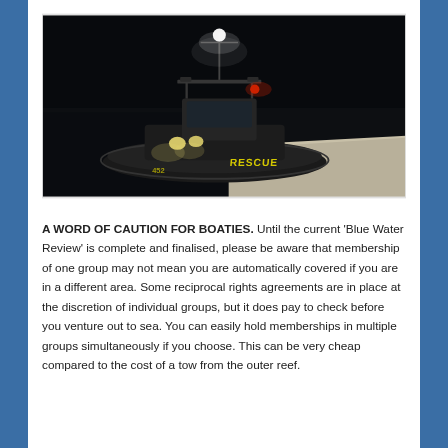[Figure (photo): A rescue boat docked at a pier at night. The boat has lights on including a bright white overhead light and red navigation lights. The word 'RESCUE' is visible on the hull in yellow lettering. The background is dark water and night sky.]
A WORD OF CAUTION FOR BOATIES. Until the current 'Blue Water Review' is complete and finalised, please be aware that membership of one group may not mean you are automatically covered if you are in a different area. Some reciprocal rights agreements are in place at the discretion of individual groups, but it does pay to check before you venture out to sea. You can easily hold memberships in multiple groups simultaneously if you choose. This can be very cheap compared to the cost of a tow from the outer reef.